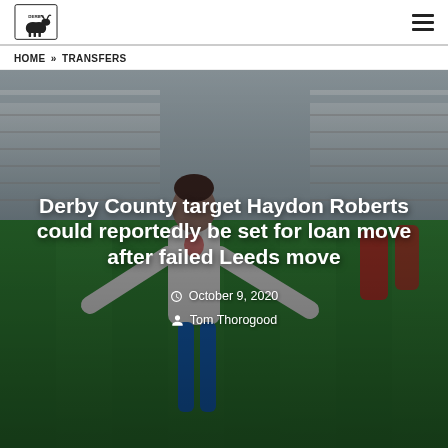Derby County logo and navigation menu
HOME » TRANSFERS
[Figure (photo): A footballer wearing a white England jersey celebrating on a pitch with stadium stands visible in the background. Red-shirted players and spectators are visible in the background.]
Derby County target Haydon Roberts could reportedly be set for loan move after failed Leeds move
October 9, 2020
Tom Thorogood